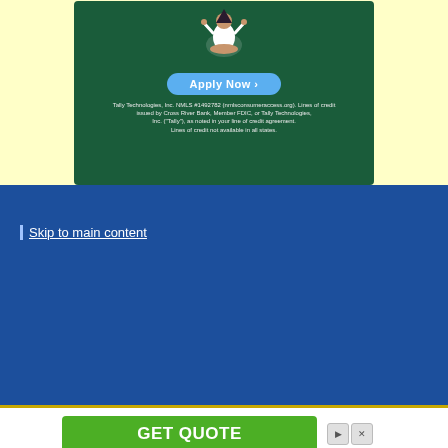[Figure (screenshot): Advertisement banner for Tally Technologies on a light yellow background. Dark green card with a meditating figure illustration, 'Apply Now' button, and disclaimer text: 'Tally Technologies, Inc. NMLS #1492782 (nmlsconsumeraccess.org). Lines of credit issued by Cross River Bank, Member FDIC, or Tally Technologies, Inc. ("Tally"), as noted in your line of credit agreement. Lines of credit not available in all states.']
Skip to main content
[Figure (screenshot): Advertisement for Integrated Circuits Supplier with a green GET QUOTE button, ad control buttons (play/close), and 'Ad' label.]
Integrated Circuits Supplier